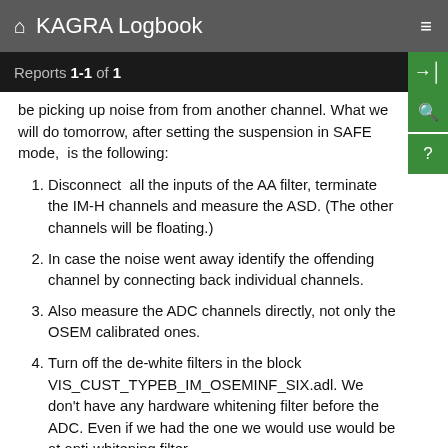KAGRA Logbook
Reports 1-1 of 1
be picking up noise from from another channel. What we will do tomorrow, after setting the suspension in SAFE mode,  is the following:
Disconnect  all the inputs of the AA filter, terminate the IM-H channels and measure the ASD. (The other channels will be floating.)
In case the noise went away identify the offending channel by connecting back individual channels.
Also measure the ADC channels directly, not only the OSEM calibrated ones.
Turn off the de-white filters in the block VIS_CUST_TYPEB_IM_OSEMINF_SIX.adl. We don't have any hardware whitening filter before the ADC. Even if we had the one we would use would be at anti-whitening filter.